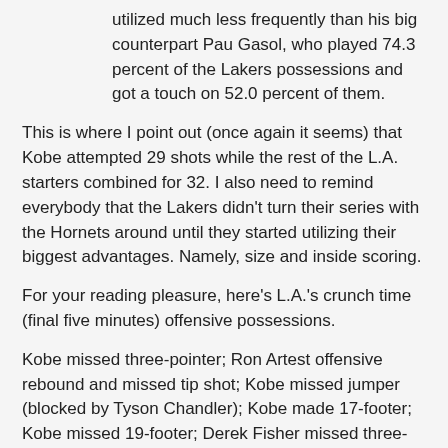utilized much less frequently than his big counterpart Pau Gasol, who played 74.3 percent of the Lakers possessions and got a touch on 52.0 percent of them.
This is where I point out (once again it seems) that Kobe attempted 29 shots while the rest of the L.A. starters combined for 32. I also need to remind everybody that the Lakers didn't turn their series with the Hornets around until they started utilizing their biggest advantages. Namely, size and inside scoring.
For your reading pleasure, here's L.A.'s crunch time (final five minutes) offensive possessions.
Kobe missed three-pointer; Ron Artest offensive rebound and missed tip shot; Kobe missed jumper (blocked by Tyson Chandler); Kobe made 17-footer; Kobe missed 19-footer; Derek Fisher missed three-pointer; Lamar Odom offensive rebound; Gasol missed jumper (blocked by Chandler); Kobe made 11-footer; Kobe turnover; Gasol turnover; Kobe missed three-pointer.